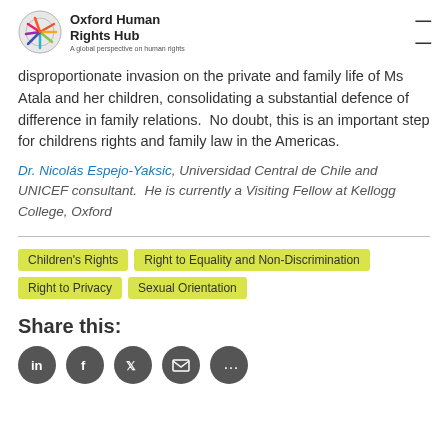Oxford Human Rights Hub — A global perspective on human rights
disproportionate invasion on the private and family life of Ms Atala and her children, consolidating a substantial defence of difference in family relations.  No doubt, this is an important step for childrens rights and family law in the Americas.
Dr. Nicolás Espejo-Yaksic, Universidad Central de Chile and UNICEF consultant.  He is currently a Visiting Fellow at Kellogg College, Oxford
Children's Rights  Right to Equality and Non-Discrimination  Right to Privacy  Sexual Orientation
Share this: